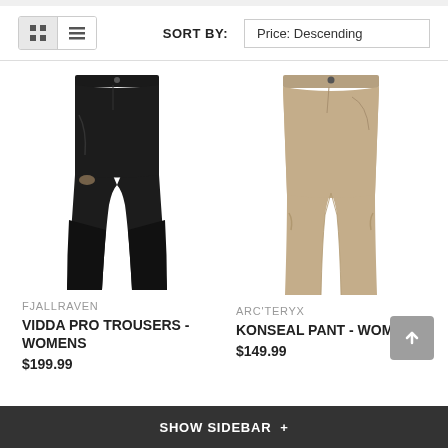[Figure (screenshot): E-commerce product listing page showing two women's pants: Fjallraven Vidda Pro Trousers and Arc'teryx Konseal Pant, with sort controls at top and show sidebar at bottom]
SORT BY: Price: Descending
[Figure (photo): Fjallraven Vidda Pro Trousers - Womens, black pants with reinforced lower legs]
FJALLRAVEN
VIDDA PRO TROUSERS - WOMENS
$199.99
[Figure (photo): Arc'teryx Konseal Pant - Womens, tan/khaki slim fit pants]
ARC'TERYX
KONSEAL PANT - WOMENS
$149.99
SHOW SIDEBAR +